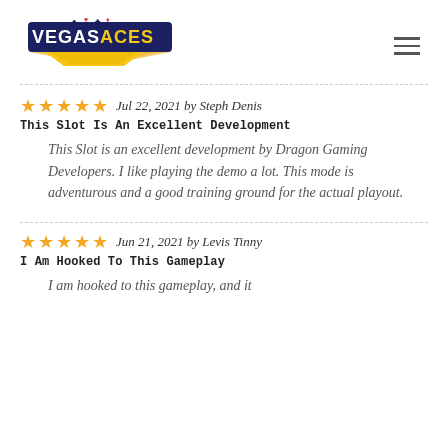[Figure (logo): Vegas Aces logo with card suit symbols and golden banner]
Jul 22, 2021 by Steph Denis
This Slot Is An Excellent Development
This Slot is an excellent development by Dragon Gaming Developers. I like playing the demo a lot. This mode is adventurous and a good training ground for the actual playout.
Jun 21, 2021 by Levis Tinny
I Am Hooked To This Gameplay
I am hooked to this gameplay, and it